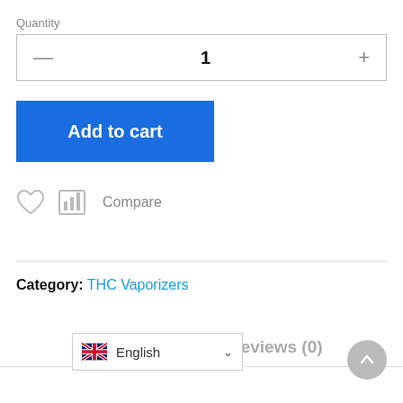Quantity
— 1 +
Add to cart
[Figure (illustration): Heart (wishlist) icon and Compare bar-chart icon with text 'Compare']
Category: THC Vaporizers
Description
Reviews (0)
[Figure (illustration): English language selector with UK flag and chevron, and scroll-to-top circular button]